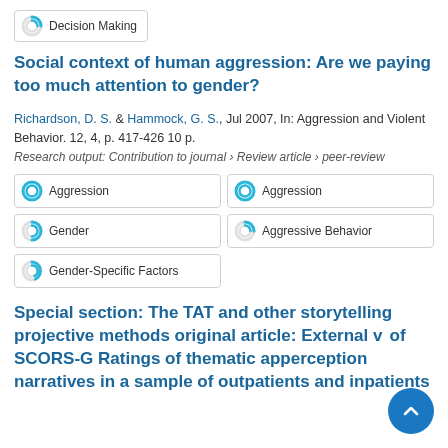[Figure (other): Decision Making keyword badge with partial donut icon]
Social context of human aggression: Are we paying too much attention to gender?
Richardson, D. S. & Hammock, G. S., Jul 2007, In: Aggression and Violent Behavior. 12, 4, p. 417-426 10 p.
Research output: Contribution to journal › Review article › peer-review
[Figure (other): Keyword badge: Aggression (full donut, left column)]
[Figure (other): Keyword badge: Aggression (full donut, right column)]
[Figure (other): Keyword badge: Gender (partial donut, left column)]
[Figure (other): Keyword badge: Aggressive Behavior (partial donut, right column)]
[Figure (other): Keyword badge: Gender-Specific Factors (partial donut, left column)]
Special section: The TAT and other storytelling projective methods original article: External v... of SCORS-G Ratings of thematic apperception narratives in a sample of outpatients and inpatients